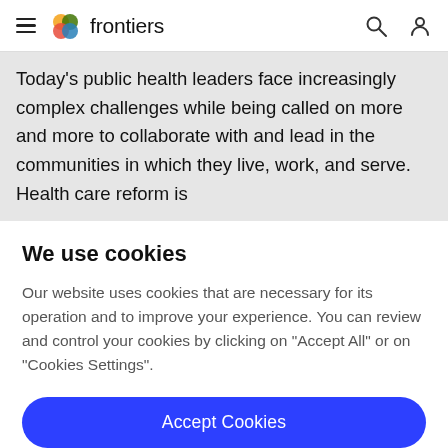frontiers
Today’s public health leaders face increasingly complex challenges while being called on more and more to collaborate with and lead in the communities in which they live, work, and serve. Health care reform is
We use cookies
Our website uses cookies that are necessary for its operation and to improve your experience. You can review and control your cookies by clicking on “Accept All” or on “Cookies Settings”.
Accept Cookies
Cookies Settings